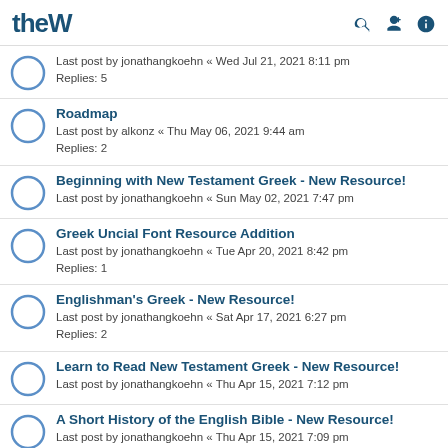theW [search, power, user icons]
Last post by jonathangkoehn « Wed Jul 21, 2021 8:11 pm
Replies: 5
Roadmap
Last post by alkonz « Thu May 06, 2021 9:44 am
Replies: 2
Beginning with New Testament Greek - New Resource!
Last post by jonathangkoehn « Sun May 02, 2021 7:47 pm
Greek Uncial Font Resource Addition
Last post by jonathangkoehn « Tue Apr 20, 2021 8:42 pm
Replies: 1
Englishman's Greek - New Resource!
Last post by jonathangkoehn « Sat Apr 17, 2021 6:27 pm
Replies: 2
Learn to Read New Testament Greek - New Resource!
Last post by jonathangkoehn « Thu Apr 15, 2021 7:12 pm
A Short History of the English Bible - New Resource!
Last post by jonathangkoehn « Thu Apr 15, 2021 7:09 pm
Kingcomments (Deutsch) - New Resource!
Last post by jonathangkoehn « Thu Apr 15, 2021 7:07 pm
Kingcomments (Nederlands) - New Resouce!